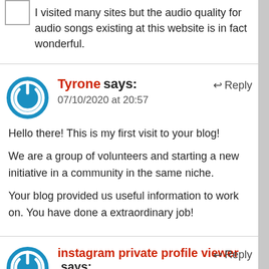I visited many sites but the audio quality for audio songs existing at this website is in fact wonderful.
Tyrone says:
07/10/2020 at 20:57
Hello there! This is my first visit to your blog!
We are a group of volunteers and starting a new initiative in a community in the same niche.
Your blog provided us useful information to work on. You have done a extraordinary job!
instagram private profile viewer says:
07/10/2020 at 21:01
Howdy I am so grateful I found your blog page, I really